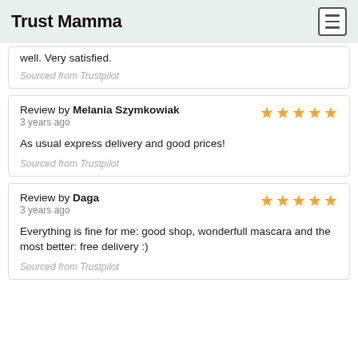Trust Mamma
well. Very satisfied.
Sourced from Trustpilot
Review by Melania Szymkowiak
3 years ago
As usual express delivery and good prices!
Sourced from Trustpilot
Review by Daga
3 years ago
Everything is fine for me: good shop, wonderfull mascara and the most better: free delivery :)
Sourced from Trustpilot